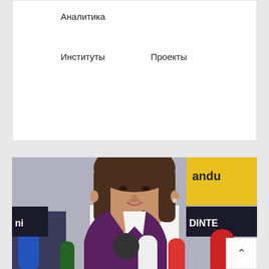Аналитика
Институты
Проекты
[Figure (photo): Woman with dark shoulder-length hair in a dark blazer speaking at a press conference with microphones in front, background shows partial text 'andu' and 'DINTE']
Итоги выборов в Молдавии
Мы поговорили с журналистом Владимиром Соловьевым, о каких политических тенденциях…